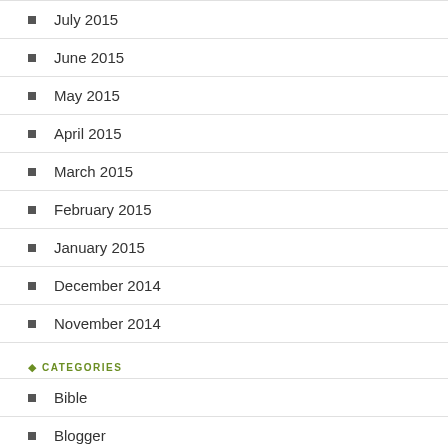July 2015
June 2015
May 2015
April 2015
March 2015
February 2015
January 2015
December 2014
November 2014
CATEGORIES
Bible
Blogger
Christian
Christian blogger